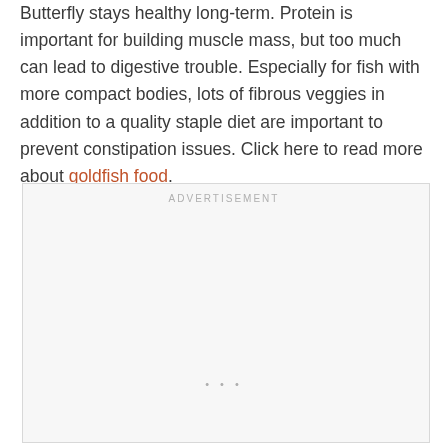Butterfly stays healthy long-term. Protein is important for building muscle mass, but too much can lead to digestive trouble. Especially for fish with more compact bodies, lots of fibrous veggies in addition to a quality staple diet are important to prevent constipation issues. Click here to read more about goldfish food.
ADVERTISEMENT